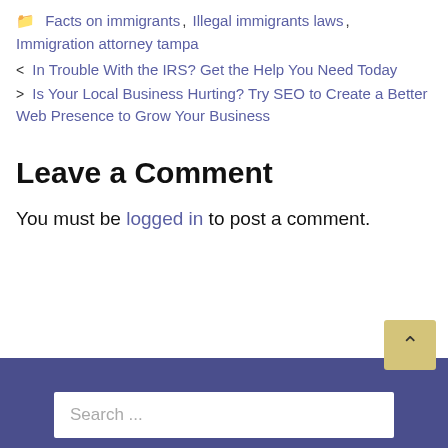📁 Facts on immigrants, Illegal immigrants laws, Immigration attorney tampa
< In Trouble With the IRS? Get the Help You Need Today
> Is Your Local Business Hurting? Try SEO to Create a Better Web Presence to Grow Your Business
Leave a Comment
You must be logged in to post a comment.